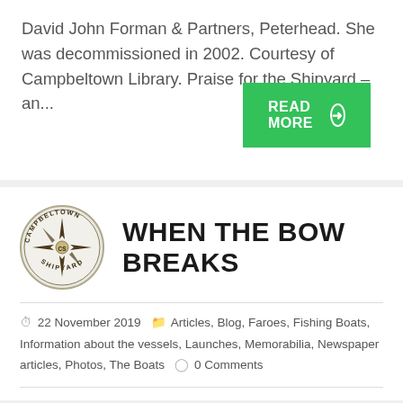David John Forman & Partners, Peterhead. She was decommissioned in 2002. Courtesy of Campbeltown Library. Praise for the Shipyard –  an...
READ MORE →
[Figure (logo): Campbeltown Shipyard circular logo with compass star motif and text 'CAMPBELTOWN CS SHIPYARD']
WHEN THE BOW BREAKS
22 November 2019  Articles, Blog, Faroes, Fishing Boats, Information about the vessels, Launches, Memorabilia, Newspaper articles, Photos, The Boats  0 Comments